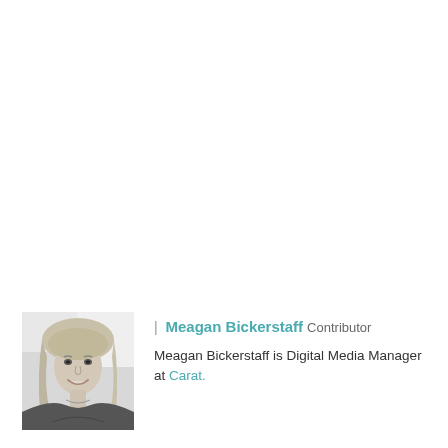[Figure (photo): Black and white headshot photo of Meagan Bickerstaff, a blonde woman smiling]
| Meagan Bickerstaff Contributor
Meagan Bickerstaff is Digital Media Manager at Carat.